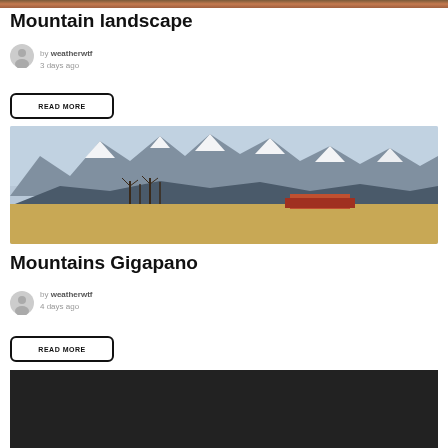[Figure (photo): Top of a building with brick/terracotta colors, partially visible at top of page]
Mountain landscape
by weatherwtf
3 days ago
READ MORE
[Figure (photo): Wide landscape photo of snow-capped mountains in the background with bare trees and a red-roofed building in the foreground on flat plains]
Mountains Gigapano
by weatherwtf
4 days ago
READ MORE
[Figure (photo): Dark photo partially visible at bottom of page]